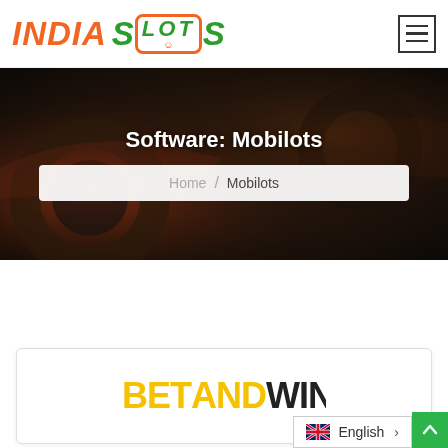[Figure (logo): India Slots website logo with orange italic INDIA text and green SLOTS text with orange slot machine icon box]
[Figure (other): Hamburger menu icon (three horizontal lines in a bordered square)]
[Figure (photo): Dark hero banner image showing racing car/tire background]
Software: Mobilots
Home / Mobilots
[Figure (logo): BetAndWin casino logo with yellow BETAND text and black WIN text, partially cropped]
English
[Figure (other): Scroll to top arrow button (green background, white upward arrow)]